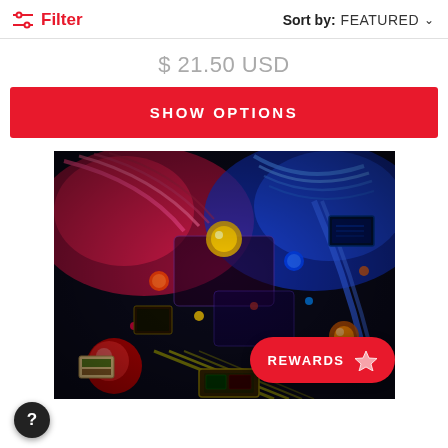Filter  Sort by: FEATURED
$ 21.50 USD
SHOW OPTIONS
[Figure (photo): Colorful illuminated pinball machine playfield viewed from above, with red/pink and blue neon lighting, showing various playfield targets, ramps, and mechanical elements.]
REWARDS